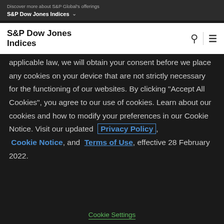Discover more about S&P Global's offerings
S&P Dow Jones Indices
S&P Dow Jones Indices
applicable law, we will obtain your consent before we place any cookies on your device that are not strictly necessary for the functioning of our websites. By clicking "Accept All Cookies", you agree to our use of cookies. Learn about our cookies and how to modify your preferences in our Cookie Notice. Visit our updated Privacy Policy, Cookie Notice, and Terms of Use, effective 28 February 2022.
Cookie Settings